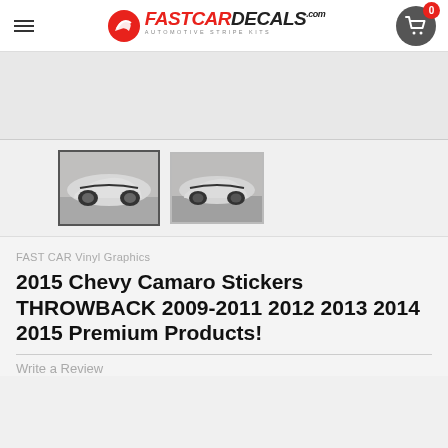FastCarDecals.com - Automotive Stripe Kits
[Figure (photo): Main product image area (mostly white/empty placeholder)]
[Figure (photo): Thumbnail 1: Silver Chevy Camaro side view with racing stripes, selected]
[Figure (photo): Thumbnail 2: Silver Chevy Camaro side view with racing stripes]
FAST CAR Vinyl Graphics
2015 Chevy Camaro Stickers THROWBACK 2009-2011 2012 2013 2014 2015 Premium Products!
Write a Review